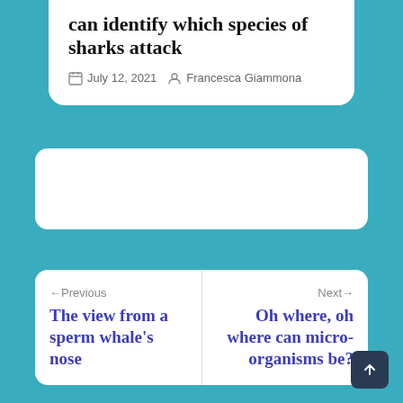can identify which species of sharks attack
July 12, 2021  Francesca Giammona
[Figure (other): Advertisement / empty white card placeholder]
← Previous
The view from a sperm whale's nose
Next →
Oh where, oh where can micro-organisms be?